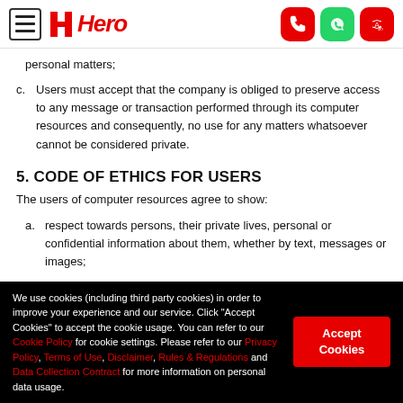Hero
personal matters;
c. Users must accept that the company is obliged to preserve access to any message or transaction performed through its computer resources and consequently, no use for any matters whatsoever cannot be considered private.
5. CODE OF ETHICS FOR USERS
The users of computer resources agree to show:
a. respect towards persons, their private lives, personal or confidential information about them, whether by text, messages or images;
We use cookies (including third party cookies) in order to improve your experience and our service. Click "Accept Cookies" to accept the cookie usage. You can refer to our Cookie Policy for cookie settings. Please refer to our Privacy Policy, Terms of Use, Disclaimer, Rules & Regulations and Data Collection Contract for more information on personal data usage.